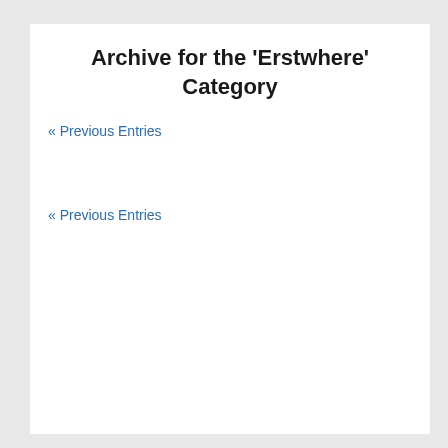Archive for the 'Erstwhere' Category
« Previous Entries
« Previous Entries